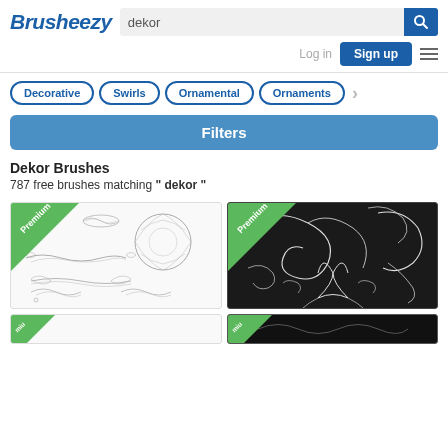[Figure (screenshot): Brusheezy website header with logo, search bar with 'dekor' query, search button, Log in link, Sign up button, and hamburger menu]
Decorative
Swirls
Ornamental
Ornaments
Filters
Dekor Brushes
787 free brushes matching " dekor "
[Figure (photo): Ornamental decorative brush set on white background with Premium badge]
[Figure (photo): Decorative swirl brushes on dark background with Premium badge]
[Figure (photo): Partial thumbnail with Premium badge, bottom row left]
[Figure (photo): Partial thumbnail with Premium badge, bottom row right]